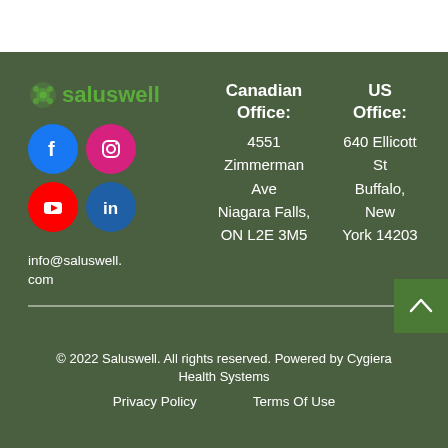[Figure (logo): Saluswell logo with green icon and green bold text 'saluswell']
[Figure (infographic): Four social media icons: Facebook (blue circle), Instagram (pink circle), YouTube (red circle), LinkedIn (blue circle)]
info@saluswell.com
Canadian Office: 4551 Zimmerman Ave Niagara Falls, ON L2E 3M5
US Office: 640 Ellicott St Buffalo, New York 14203
© 2022 Saluswell. All rights reserved. Powered by Cygiera Health Systems
Privacy Policy   Terms Of Use